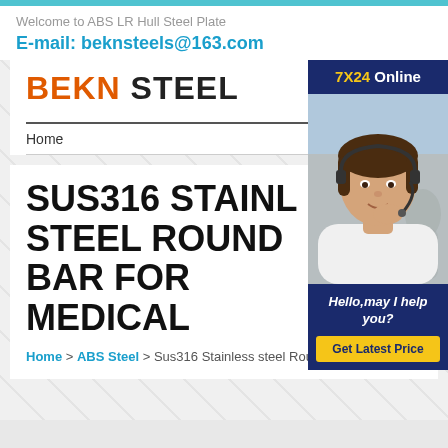Welcome to ABS LR Hull Steel Plate
E-mail: beknsteels@163.com
[Figure (logo): BEKN STEEL logo with BEKN in red/orange and STEEL in black bold text]
Home
[Figure (photo): Customer service representative wearing headset, smiling, with 7X24 Online banner and Hello,may I help you? / Get Latest Price chat widget]
SUS316 STAINLESS STEEL ROUND BAR FOR MEDICAL
Home > ABS Steel > Sus316 Stainless steel Round bar For Medical